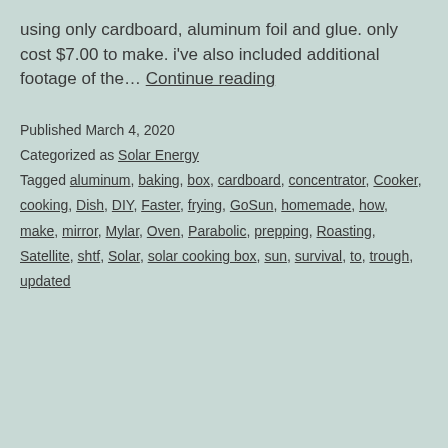using only cardboard, aluminum foil and glue. only cost $7.00 to make. i've also included additional footage of the… Continue reading
Published March 4, 2020
Categorized as Solar Energy
Tagged aluminum, baking, box, cardboard, concentrator, Cooker, cooking, Dish, DIY, Faster, frying, GoSun, homemade, how, make, mirror, Mylar, Oven, Parabolic, prepping, Roasting, Satellite, shtf, Solar, solar cooking box, sun, survival, to, trough, updated